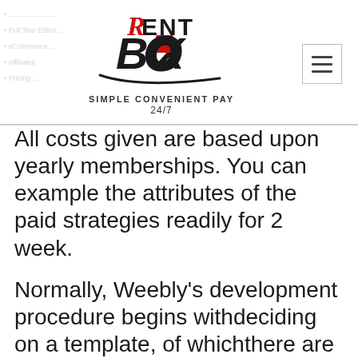Rent Box — Simple Convenient Pay 24/7
All costs given are based upon yearly memberships. You can example the attributes of the paid strategies readily for 2 week.
Normally, Weebly’s development procedure begins withdeciding on a template, of whichthere are